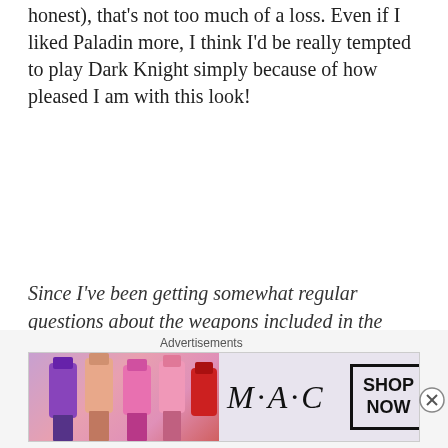honest), that's not too much of a loss. Even if I liked Paladin more, I think I'd be really tempted to play Dark Knight simply because of how pleased I am with this look!
Since I've been getting somewhat regular questions about the weapons included in the header images, I'm going to start including them in the list of glamour pieces. I don't always glamour with weapons in mind, and when I started the site, it was something I tended to avoid outside of current stage Relic/Zodiac/Anima weapons. As time's gone
Advertisements
[Figure (advertisement): MAC Cosmetics advertisement showing colorful lipsticks on the left, MAC logo in the center, and a SHOP NOW button on the right with a red lipstick on the far right edge.]